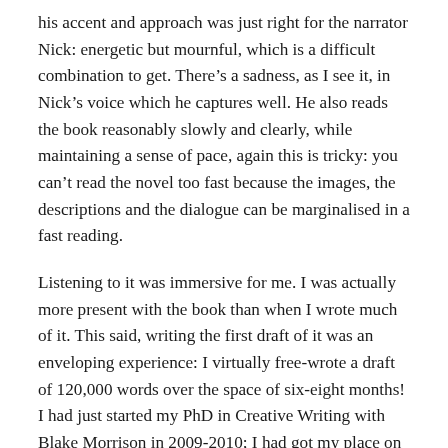his accent and approach was just right for the narrator Nick: energetic but mournful, which is a difficult combination to get. There's a sadness, as I see it, in Nick's voice which he captures well. He also reads the book reasonably slowly and clearly, while maintaining a sense of pace, again this is tricky: you can't read the novel too fast because the images, the descriptions and the dialogue can be marginalised in a fast reading.
Listening to it was immersive for me. I was actually more present with the book than when I wrote much of it. This said, writing the first draft of it was an enveloping experience: I virtually free-wrote a draft of 120,000 words over the space of six-eight months! I had just started my PhD in Creative Writing with Blake Morrison in 2009-2010; I had got my place on this prestigious programme by proposing another entirely different book, but changed